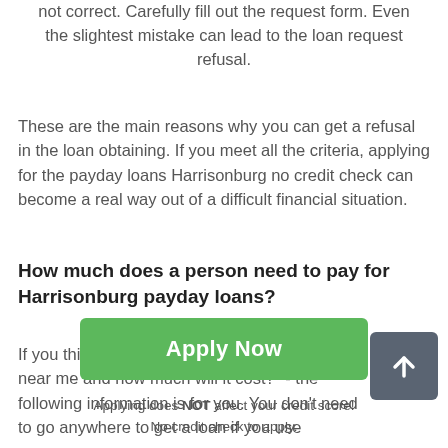not correct. Carefully fill out the request form. Even the slightest mistake can lead to the loan request refusal.
These are the main reasons why you can get a refusal in the loan obtaining. If you meet all the criteria, applying for the payday loans Harrisonburg no credit check can become a real way out of a difficult financial situation.
How much does a person need to pay for Harrisonburg payday loans?
If you think "Where can I take a payday loan near me and how much will it cost?" - the following information is for you. You don't need to go anywhere to get a loan if you use
[Figure (other): Scroll-to-top button with upward arrow icon, gray rounded square]
[Figure (other): Green 'Apply Now' button]
Applying does NOT affect your credit score!
No credit check to apply.